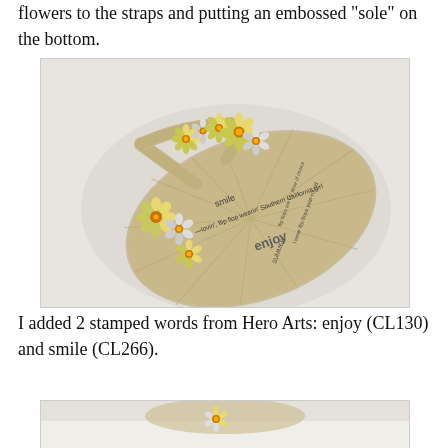flowers to the straps and putting an embossed 'sole' on the bottom.
[Figure (photo): A decorative paper flip flop craft with gold and silver daisy flowers adorned with amber rhinestone centers along the strap, on a patterned base featuring text words like 'enjoy', 'smile', and summer-themed phrases, on a white background.]
I added 2 stamped words from Hero Arts: enjoy (CL130) and smile (CL266).
[Figure (photo): Partial view of another decorative craft item, cropped at bottom of page.]